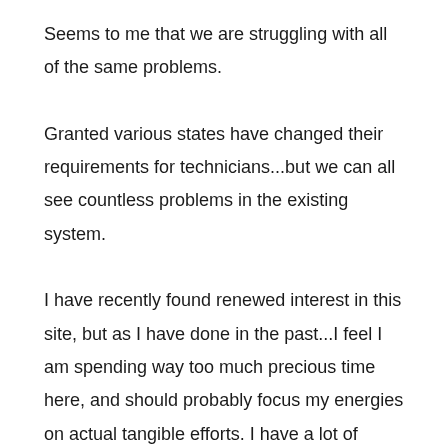Seems to me that we are struggling with all of the same problems.

Granted various states have changed their requirements for technicians...but we can all see countless problems in the existing system.

I have recently found renewed interest in this site, but as I have done in the past...I feel I am spending way too much precious time here, and should probably focus my energies on actual tangible efforts. I have a lot of things on my plate right now...things that can only advance our profession. I refuse to let the hopelessness of others drag me down,so I am probably going to slip back into an observation only (okay, who am I kidding...mostly?) position.

If anyone is interested in helping work towards the goals I have mentioned (especially in New York) please feel free to contact me privately.